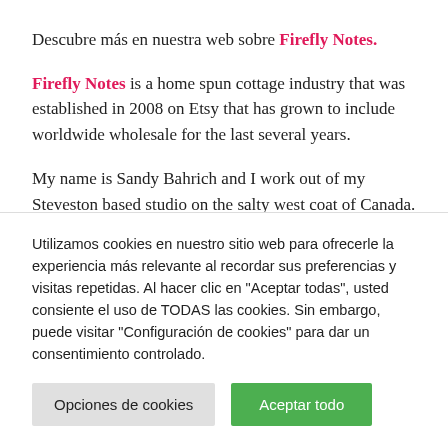Descubre más en nuestra web sobre Firefly Notes.
Firefly Notes is a home spun cottage industry that was established in 2008 on Etsy that has grown to include worldwide wholesale for the last several years.
My name is Sandy Bahrich and I work out of my Steveston based studio on the salty west coat of Canada. I design, craft and run my creative business with attention to detail and...
Utilizamos cookies en nuestro sitio web para ofrecerle la experiencia más relevante al recordar sus preferencias y visitas repetidas. Al hacer clic en "Aceptar todas", usted consiente el uso de TODAS las cookies. Sin embargo, puede visitar "Configuración de cookies" para dar un consentimiento controlado.
Opciones de cookies
Aceptar todo